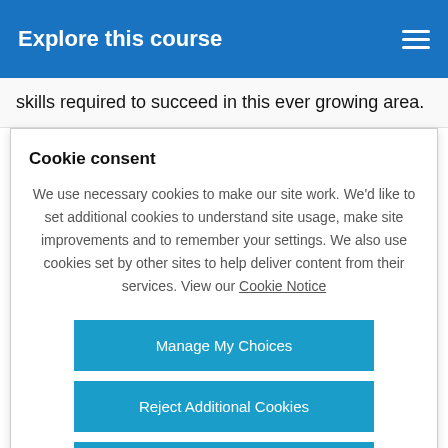Explore this course
skills required to succeed in this ever growing area.
Cookie consent
We use necessary cookies to make our site work. We'd like to set additional cookies to understand site usage, make site improvements and to remember your settings. We also use cookies set by other sites to help deliver content from their services. View our Cookie Notice
Manage My Choices
Reject Additional Cookies
Accept Additional Cookies